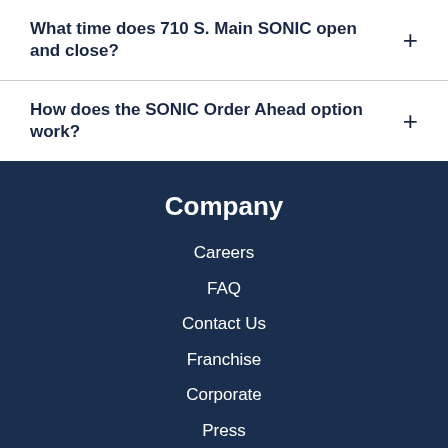What time does 710 S. Main SONIC open and close?
How does the SONIC Order Ahead option work?
Company
Careers
FAQ
Contact Us
Franchise
Corporate
Press
More
Community